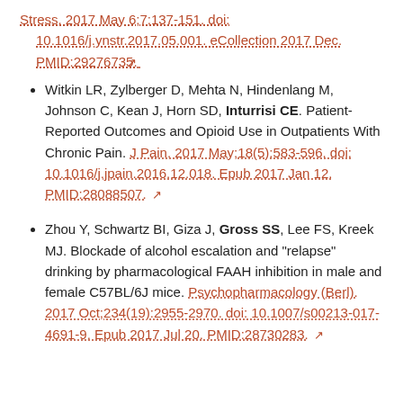Stress. 2017 May 6;7:137-151. doi: 10.1016/j.ynstr.2017.05.001. eCollection 2017 Dec. PMID:29276735.
Witkin LR, Zylberger D, Mehta N, Hindenlang M, Johnson C, Kean J, Horn SD, Inturrisi CE. Patient-Reported Outcomes and Opioid Use in Outpatients With Chronic Pain. J Pain. 2017 May;18(5):583-596. doi: 10.1016/j.jpain.2016.12.018. Epub 2017 Jan 12. PMID:28088507.
Zhou Y, Schwartz BI, Giza J, Gross SS, Lee FS, Kreek MJ. Blockade of alcohol escalation and "relapse" drinking by pharmacological FAAH inhibition in male and female C57BL/6J mice. Psychopharmacology (Berl). 2017 Oct;234(19):2955-2970. doi: 10.1007/s00213-017-4691-9. Epub 2017 Jul 20. PMID:28730283.